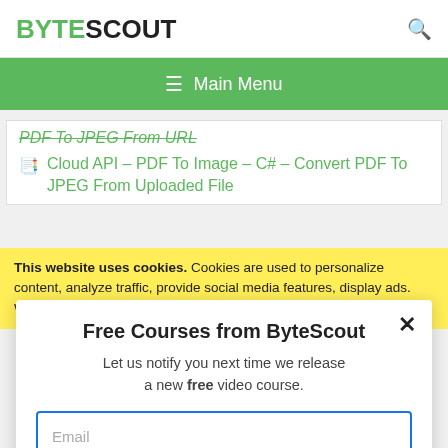BYTESCOUT
≡ Main Menu
PDF To JPEG From URL
Cloud API – PDF To Image – C# – Convert PDF To JPEG From Uploaded File
This website uses cookies. Cookies are used to personalize content, analyze traffic, provide social media features, display ads. We also share
Free Courses from ByteScout
Let us notify you next time we release a new free video course.
Email
SUBSCRIBE